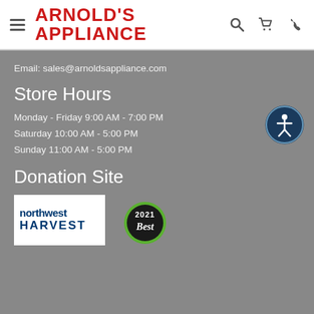ARNOLD'S APPLIANCE
Email: sales@arnoldsappliance.com
Store Hours
Monday - Friday 9:00 AM - 7:00 PM
Saturday 10:00 AM - 5:00 PM
Sunday 11:00 AM - 5:00 PM
Donation Site
[Figure (logo): Northwest Harvest logo with dark blue text on white background]
[Figure (logo): 2021 Best badge with green and black circular design]